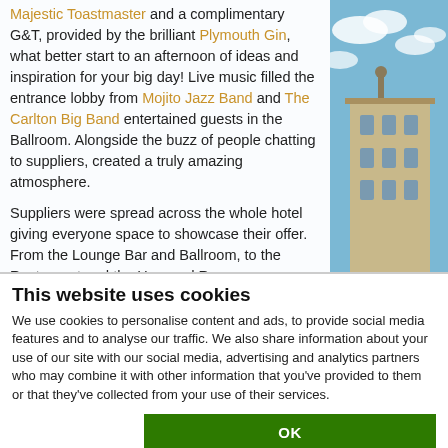Majestic Toastmaster and a complimentary G&T, provided by the brilliant Plymouth Gin, what better start to an afternoon of ideas and inspiration for your big day! Live music filled the entrance lobby from Mojito Jazz Band and The Carlton Big Band entertained guests in the Ballroom. Alongside the buzz of people chatting to suppliers, created a truly amazing atmosphere.

Suppliers were spread across the whole hotel giving everyone space to showcase their offer. From the Lounge Bar and Ballroom, to the Restaurant and the Hayward Room every corner of the hotel revealed an
[Figure (photo): Partial view of a building with ornate architecture against a blue sky, visible on the right side of the page]
This website uses cookies
We use cookies to personalise content and ads, to provide social media features and to analyse our traffic. We also share information about your use of our site with our social media, advertising and analytics partners who may combine it with other information that you've provided to them or that they've collected from your use of their services.
OK
Necessary   Preferences   Statistics   Show details   Marketing